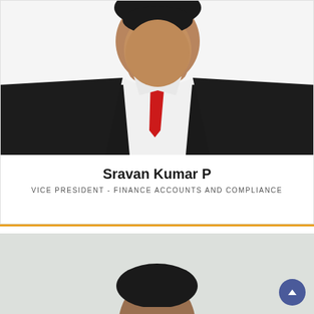[Figure (photo): Portrait photo of Sravan Kumar P wearing a dark suit and red tie on white background]
Sravan Kumar P
VICE PRESIDENT - FINANCE ACCOUNTS AND COMPLIANCE
[Figure (photo): Partial portrait photo of second person with dark hair on light grey background]